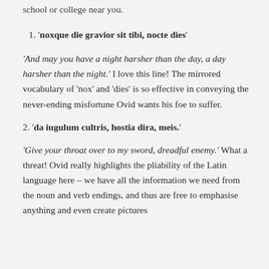school or college near you.
1. 'noxque die gravior sit tibi, nocte dies'
'And may you have a night harsher than the day, a day harsher than the night.' I love this line! The mirrored vocabulary of 'nox' and 'dies' is so effective in conveying the never-ending misfortune Ovid wants his foe to suffer.
2. 'da iugulum cultris, hostia dira, meis.'
'Give your throat over to my sword, dreadful enemy.' What a threat! Ovid really highlights the pliability of the Latin language here – we have all the information we need from the noun and verb endings, and thus are free to emphasise anything and even create pictures